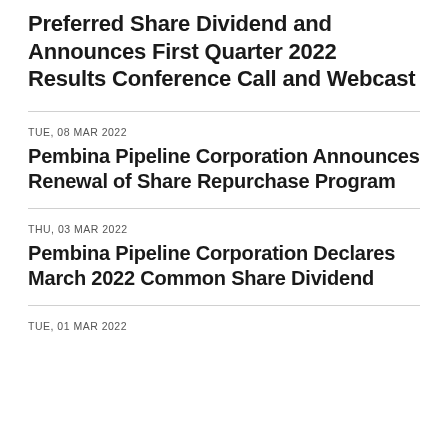Preferred Share Dividend and Announces First Quarter 2022 Results Conference Call and Webcast
TUE, 08 MAR 2022
Pembina Pipeline Corporation Announces Renewal of Share Repurchase Program
THU, 03 MAR 2022
Pembina Pipeline Corporation Declares March 2022 Common Share Dividend
TUE, 01 MAR 2022